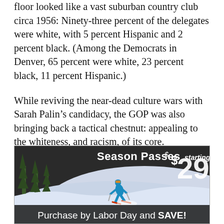floor looked like a vast suburban country club circa 1956: Ninety-three percent of the delegates were white, with 5 percent Hispanic and 2 percent black. (Among the Democrats in Denver, 65 percent were white, 23 percent black, 11 percent Hispanic.)
While reviving the near-dead culture wars with Sarah Palin’s candidacy, the GOP was also bringing back a tactical chestnut: appealing to the whiteness, and racism, of its core.
It just might work. And then, it might not. Because that attack on community organizers also struck me as the one tone-deaf note in an otherwise pitch-perfect performance. Beyond racism, it revealed the true
[Figure (other): Advertisement banner: Season Passes starting at $299. Shows a skier on a snowy slope. Text: Purchase by Labor Day and SAVE!]